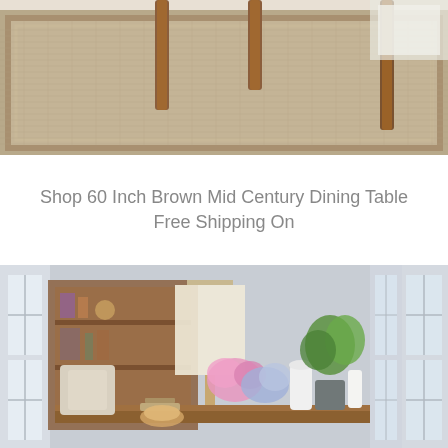[Figure (photo): Close-up photo of a woven natural fiber area rug with a border pattern, with brown wooden table or furniture legs visible on the rug. Light background with a white piece of furniture partially visible in the upper right.]
Shop 60 Inch Brown Mid Century Dining Table Free Shipping On
[Figure (photo): Interior photo of a mid-century modern dining room with a wooden dining table, beige upholstered chairs, a lamp with white shade, pink and blue flowers in a vase, green plants, and a bookshelf with items in the background. Large windows let in natural light.]